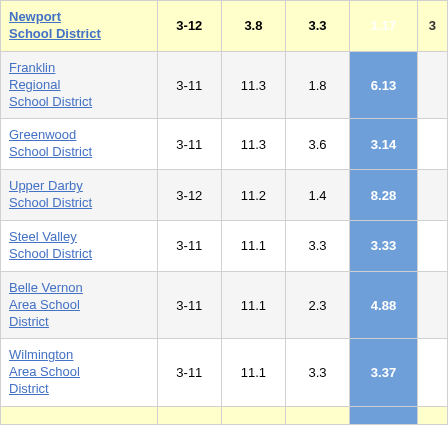| School District | Grades | Col1 | Col2 | Col3 | Col4 |
| --- | --- | --- | --- | --- | --- |
| Newport School District | 3-12 | 3.8 | 3.3 | 1.17 | 3 |
| Franklin Regional School District | 3-11 | 11.3 | 1.8 | 6.13 |  |
| Greenwood School District | 3-11 | 11.3 | 3.6 | 3.14 |  |
| Upper Darby School District | 3-12 | 11.2 | 1.4 | 8.28 |  |
| Steel Valley School District | 3-11 | 11.1 | 3.3 | 3.33 |  |
| Belle Vernon Area School District | 3-11 | 11.1 | 2.3 | 4.88 |  |
| Wilmington Area School District | 3-11 | 11.1 | 3.3 | 3.37 |  |